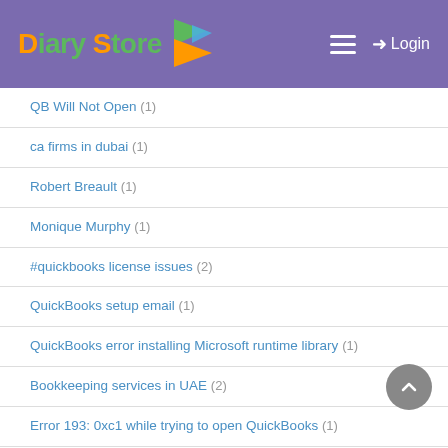Diary Store — Login
QB Will Not Open (1)
ca firms in dubai (1)
Robert Breault (1)
Monique Murphy (1)
#quickbooks license issues (2)
QuickBooks setup email (1)
QuickBooks error installing Microsoft runtime library (1)
Bookkeeping services in UAE (2)
Error 193: 0xc1 while trying to open QuickBooks (1)
Error 1920 Installing QuickBooks (1)
QuickBooks terminates with error 1603 (1)
Nobel Prizes (1)